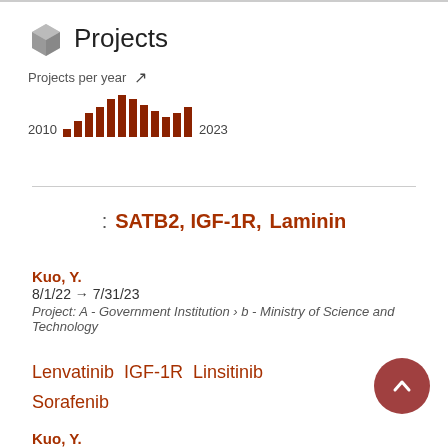Projects
[Figure (bar-chart): Projects per year]
: SATB2, IGF-1R, Laminin
Kuo, Y.
8/1/22 → 7/31/23
Project: A - Government Institution › b - Ministry of Science and Technology
Lenvatinib   IGF-1R   Linsitinib
Sorafenib
Kuo, Y.